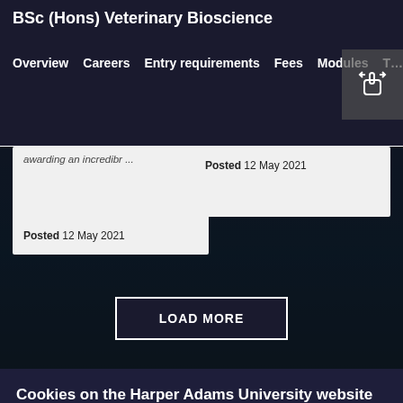BSc (Hons) Veterinary Bioscience
Overview  Careers  Entry requirements  Fees  Modules  T…
awarding an incredibr …
Posted 12 May 2021
Posted 12 May 2021
LOAD MORE
Cookies on the Harper Adams University website
We use cookies to ensure that we give you the best experience on our website. If you continue without changing your settings, we'll assume that you are happy to receive all cookies on the website. However, you can change your cookie settings at any time.
OK, GOT IT
LEARN MORE